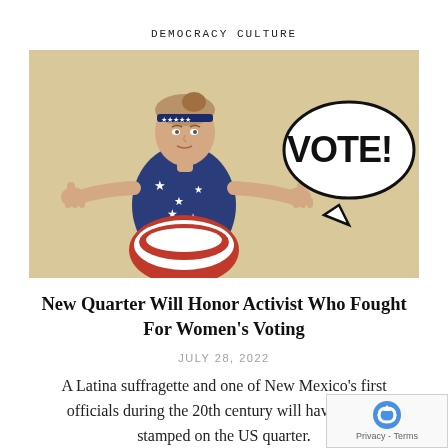DEMOCRACY CULTURE
[Figure (illustration): A woman dressed in a patriotic American outfit (stars and stripes) giving two thumbs up, with a speech bubble saying 'VOTE!' against a beige background.]
New Quarter Will Honor Activist Who Fought For Women's Voting
JULY 28, 2022
A Latina suffragette and one of New Mexico's first officials during the 20th century will have her im stamped on the US quarter.